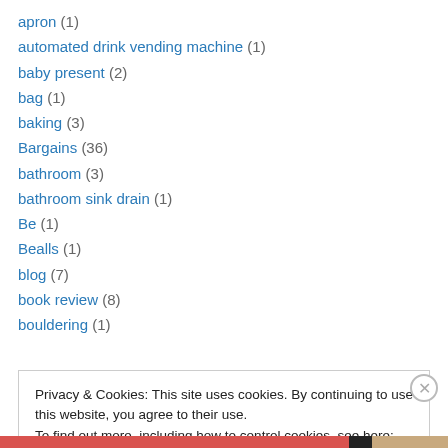apron (1)
automated drink vending machine (1)
baby present (2)
bag (1)
baking (3)
Bargains (36)
bathroom (3)
bathroom sink drain (1)
Be (1)
Bealls (1)
blog (7)
book review (8)
bouldering (1)
Privacy & Cookies: This site uses cookies. By continuing to use this website, you agree to their use.
To find out more, including how to control cookies, see here: Cookie Policy
Close and accept